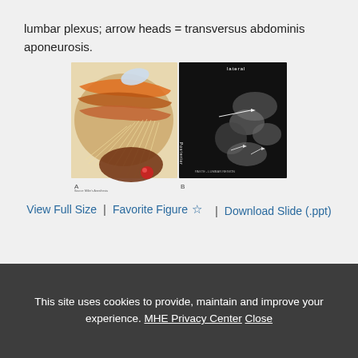lumbar plexus; arrow heads = transversus abdominis aponeurosis.
[Figure (illustration): Composite figure showing two panels: (A) anatomical illustration of lumbar plexus with layered muscles and nerve structures, and (B) ultrasound image labeled 'lateral' with 'Posterior' orientation showing lumbar plexus structures.]
View Full Size  |  Favorite Figure ☆  |  Download Slide (.ppt)
This site uses cookies to provide, maintain and improve your experience. MHE Privacy Center  Close